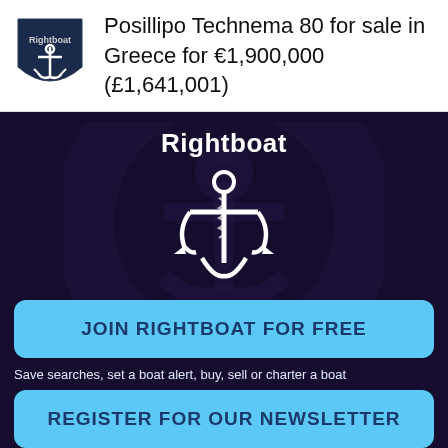Posillipo Technema 80 for sale in Greece for €1,900,000 (£1,641,001)
[Figure (logo): Rightboat logo: dark navy shield with white anchor icon and 'Rightboat' text]
Rightboat
[Figure (illustration): White anchor illustration on dark navy background with circular watermark]
JOIN RIGHTBOAT FOR FREE
Save searches, set a boat alert, buy, sell or charter a boat
REGISTER FOR OUR NEWSLETTER
Enter your email to keep up to date with the latest news
REGISTER AS BROKER
Professional brokers click here to list boats on Rightboat